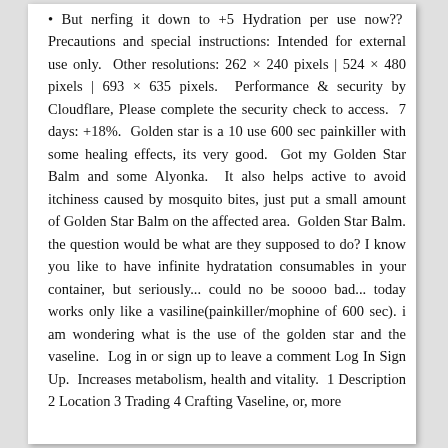• But nerfing it down to +5 Hydration per use now?? Precautions and special instructions: Intended for external use only. Other resolutions: 262 × 240 pixels | 524 × 480 pixels | 693 × 635 pixels. Performance & security by Cloudflare, Please complete the security check to access. 7 days: +18%. Golden star is a 10 use 600 sec painkiller with some healing effects, its very good. Got my Golden Star Balm and some Alyonka. It also helps active to avoid itchiness caused by mosquito bites, just put a small amount of Golden Star Balm on the affected area. Golden Star Balm. the question would be what are they supposed to do? I know you like to have infinite hydratation consumables in your container, but seriously... could no be soooo bad... today works only like a vasiline(painkiller/mophine of 600 sec). i am wondering what is the use of the golden star and the vaseline. Log in or sign up to leave a comment Log In Sign Up. Increases metabolism, health and vitality. 1 Description 2 Location 3 Trading 4 Crafting Vaseline, or, more